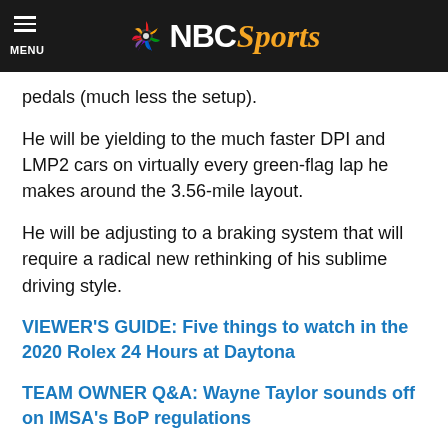MENU NBC Sports
pedals (much less the setup).
He will be yielding to the much faster DPI and LMP2 cars on virtually every green-flag lap he makes around the 3.56-mile layout.
He will be adjusting to a braking system that will require a radical new rethinking of his sublime driving style.
VIEWER'S GUIDE: Five things to watch in the 2020 Rolex 24 Hours at Daytona
TEAM OWNER Q&A: Wayne Taylor sounds off on IMSA's BoP regulations
A two-time Cup champion accustomed to knowing exactly what he wants in a race car will be learning on the fly for the first time in years as a 24-hour sports car